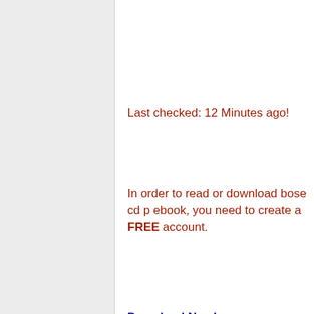Last checked: 12 Minutes ago!
In order to read or download bose cd p ebook, you need to create a FREE account.
Download Now!
eBook includes PDF, ePub and Kindle vers
✔ Register a free 1 month Trial Account.
✔ Download as many books as you like (Po